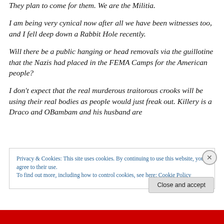They plan to come for them. We are the Militia.
I am being very cynical now after all we have been witnesses too, and I fell deep down a Rabbit Hole recently.
Will there be a public hanging or head removals via the guillotine that the Nazis had placed in the FEMA Camps for the American people?
I don't expect that the real murderous traitorous crooks will be using their real bodies as people would just freak out. Killery is a Draco and OBambam and his husband are
Privacy & Cookies: This site uses cookies. By continuing to use this website, you agree to their use.
To find out more, including how to control cookies, see here: Cookie Policy
Close and accept